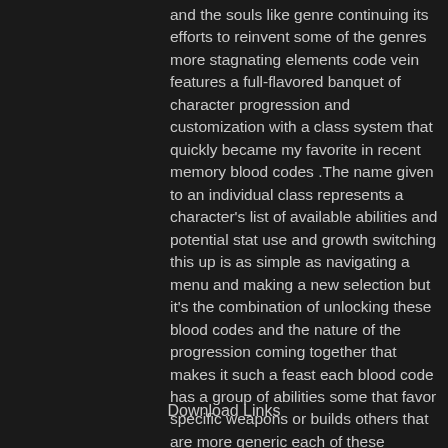and the souls like genre continuing its efforts to reinvent some of the genres more stagnating elements code vein features a full-flavored banquet of character progression and customization with a class system that quickly became my favorite in recent memory blood codes .The name given to an individual class represents a character's list of available abilities and potential stat use and growth switching this up is as simple as navigating a menu and making a new selection but it's the combination of unlocking these blood codes and the nature of the progression coming together that makes it such a feast each blood code has a group of abilities some that favor specific weapons or builds others that are more generic each of these abilities can be unlocked.
Download Links